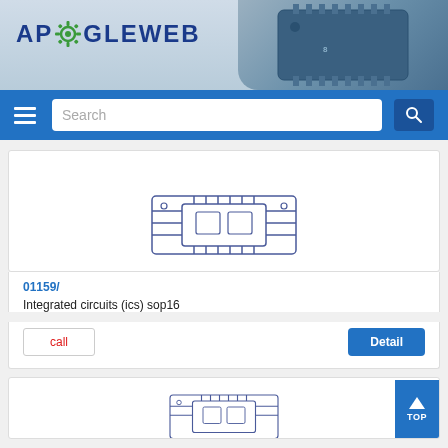[Figure (logo): ApogeeWeb logo with gear icon on blue-grey banner background with circuit board chip image on the right]
[Figure (screenshot): Navigation bar with hamburger menu, search box, and search button on blue background]
[Figure (illustration): Integrated circuit / IC chip illustration in blue outline style (SOP16 package)]
01159/
Integrated circuits (ics) sop16
[Figure (screenshot): Call button and Detail button for product 01159/]
[Figure (illustration): Second integrated circuit chip illustration (partial, bottom of page) with TOP navigation button]